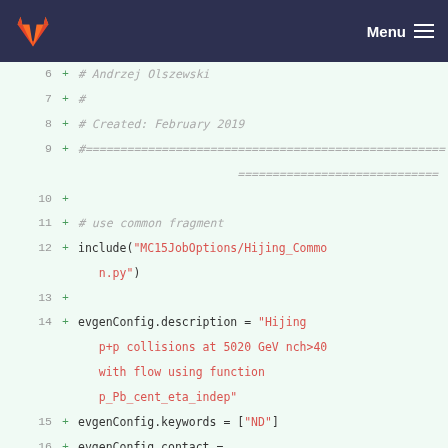GitLab Menu
[Figure (screenshot): Code diff view showing lines 6-19 of a Python script with additions (+) for Hijing p+p collision event generator configuration]
6  + # Andrzej Olszewski
7  + #
8  + # Created: February 2019
9  + #=============================================
10 +
11 + # use common fragment
12 + include("MC15JobOptions/Hijing_Common.py")
13 +
14 + evgenConfig.description = "Hijing p+p collisions at 5020 GeV nch>40 with flow using function p_Pb_cent_eta_indep"
15 + evgenConfig.keywords = ["ND"]
16 + evgenConfig.contact = ["Andrzej.Olszewski@ifj.edu.pl"]
17 +
18 + evgenConfig.minevents = 5000
19 +